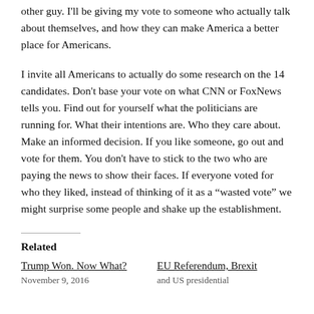other guy. I'll be giving my vote to someone who actually talk about themselves, and how they can make America a better place for Americans.
I invite all Americans to actually do some research on the 14 candidates. Don't base your vote on what CNN or FoxNews tells you. Find out for yourself what the politicians are running for. What their intentions are. Who they care about. Make an informed decision. If you like someone, go out and vote for them. You don't have to stick to the two who are paying the news to show their faces. If everyone voted for who they liked, instead of thinking of it as a “wasted vote” we might surprise some people and shake up the establishment.
Related
Trump Won. Now What?
November 9, 2016
EU Referendum, Brexit and US presidential